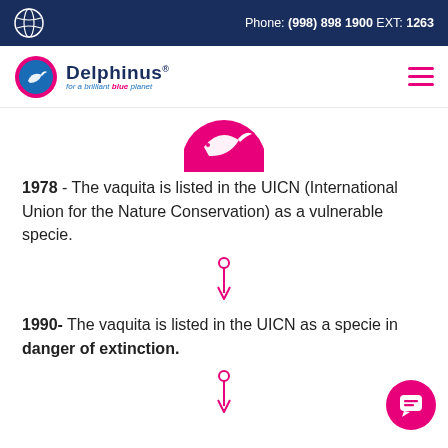Phone: (998) 898 1900 EXT: 1263
[Figure (logo): Delphinus logo with dolphin icon and tagline 'for a brilliant blue planet']
[Figure (illustration): Pink circle with white dolphin silhouette jumping]
1978 - The vaquita is listed in the UICN (International Union for the Nature Conservation) as a vulnerable specie.
[Figure (other): Pink downward arrow with circle on top (timeline connector)]
1990- The vaquita is listed in the UICN as a specie in danger of extinction.
[Figure (other): Pink downward arrow with circle on top (timeline connector)]